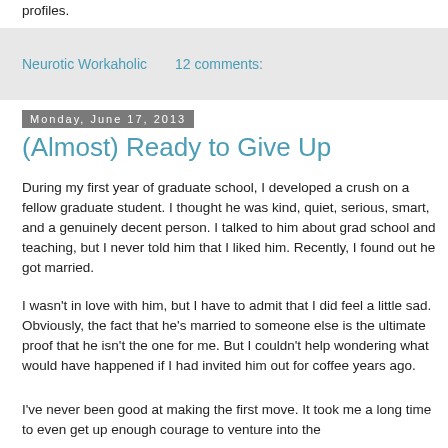profiles.
Neurotic Workaholic    12 comments:
Monday, June 17, 2013
(Almost) Ready to Give Up
During my first year of graduate school, I developed a crush on a fellow graduate student. I thought he was kind, quiet, serious, smart, and a genuinely decent person. I talked to him about grad school and teaching, but I never told him that I liked him. Recently, I found out he got married.
I wasn't in love with him, but I have to admit that I did feel a little sad. Obviously, the fact that he's married to someone else is the ultimate proof that he isn't the one for me. But I couldn't help wondering what would have happened if I had invited him out for coffee years ago.
I've never been good at making the first move. It took me a long time to even get up enough courage to venture into the